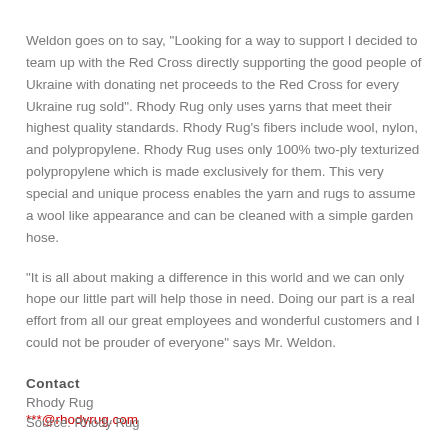Weldon goes on to say, "Looking for a way to support I decided to team up with the Red Cross directly supporting the good people of Ukraine with donating net proceeds to the Red Cross for every Ukraine rug sold". Rhody Rug only uses yarns that meet their highest quality standards. Rhody Rug's fibers include wool, nylon, and polypropylene. Rhody Rug uses only 100% two-ply texturized polypropylene which is made exclusively for them. This very special and unique process enables the yarn and rugs to assume a wool like appearance and can be cleaned with a simple garden hose.
"It is all about making a difference in this world and we can only hope our little part will help those in need. Doing our part is a real effort from all our great employees and wonderful customers and I could not be prouder of everyone" says Mr. Weldon.
Contact
Rhody Rug
***@rhodyrug.com
Source: Rhody Rug